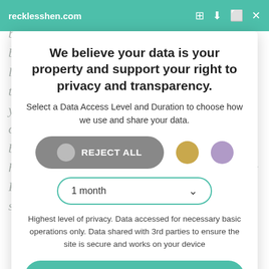recklesshen.com
We believe your data is your property and support your right to privacy and transparency.
Select a Data Access Level and Duration to choose how we use and share your data.
REJECT ALL
1 month
Highest level of privacy. Data accessed for necessary basic operations only. Data shared with 3rd parties to ensure the site is secure and works on your device
Save my preferences
Customize
Privacy policy